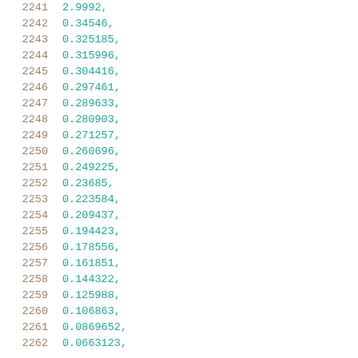2241   2.9992,
2242   0.34546,
2243   0.325185,
2244   0.315996,
2245   0.304416,
2246   0.297461,
2247   0.289633,
2248   0.280903,
2249   0.271257,
2250   0.260696,
2251   0.249225,
2252   0.23685,
2253   0.223584,
2254   0.209437,
2255   0.194423,
2256   0.178556,
2257   0.161851,
2258   0.144322,
2259   0.125988,
2260   0.106863,
2261   0.0869652,
2262   0.0663123,